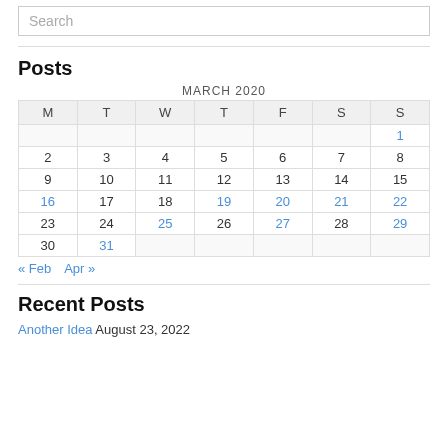Search
Posts
| M | T | W | T | F | S | S |
| --- | --- | --- | --- | --- | --- | --- |
|  |  |  |  |  |  | 1 |
| 2 | 3 | 4 | 5 | 6 | 7 | 8 |
| 9 | 10 | 11 | 12 | 13 | 14 | 15 |
| 16 | 17 | 18 | 19 | 20 | 21 | 22 |
| 23 | 24 | 25 | 26 | 27 | 28 | 29 |
| 30 | 31 |  |  |  |  |  |
« Feb   Apr »
Recent Posts
Another Idea August 23, 2022